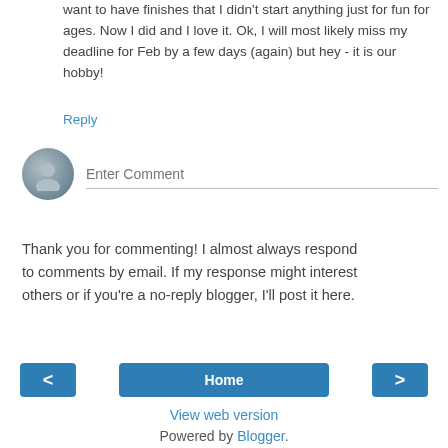want to have finishes that I didn't start anything just for fun for ages. Now I did and I love it. Ok, I will most likely miss my deadline for Feb by a few days (again) but hey - it is our hobby!
Reply
[Figure (illustration): Generic user avatar circle icon with silhouette, next to an Enter Comment input field with bottom border]
Thank you for commenting! I almost always respond to comments by email. If my response might interest others or if you're a no-reply blogger, I'll post it here.
[Figure (other): Navigation bar with left arrow button, Home button, and right arrow button]
View web version
Powered by Blogger.